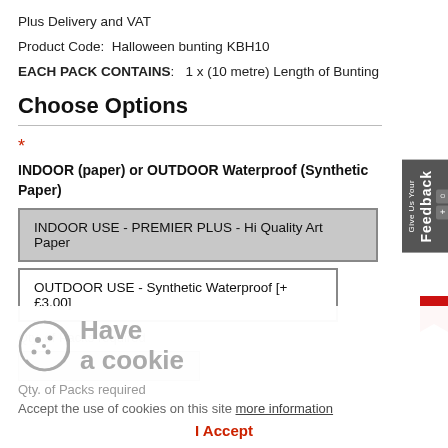Plus Delivery and VAT
Product Code:  Halloween bunting KBH10
EACH PACK CONTAINS:   1 x (10 metre) Length of Bunting
Choose Options
*
INDOOR (paper) or OUTDOOR Waterproof (Synthetic Paper)
INDOOR USE - PREMIER PLUS - Hi Quality Art Paper
OUTDOOR USE - Synthetic Waterproof [+£3.00]
Qty. of Packs required
[Figure (other): Cookie consent overlay with cookie icon, 'Have a cookie' heading, acceptance text with more information link, and I Accept button]